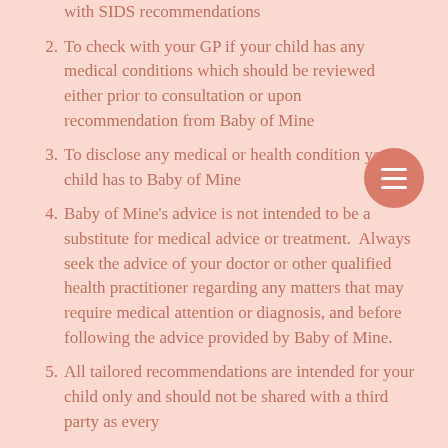with SIDS recommendations
2. To check with your GP if your child has any medical conditions which should be reviewed either prior to consultation or upon recommendation from Baby of Mine
3. To disclose any medical or health condition your child has to Baby of Mine
4. Baby of Mine's advice is not intended to be a substitute for medical advice or treatment.  Always seek the advice of your doctor or other qualified health practitioner regarding any matters that may require medical attention or diagnosis, and before following the advice provided by Baby of Mine.
5. All tailored recommendations are intended for your child only and should not be shared with a third party as every